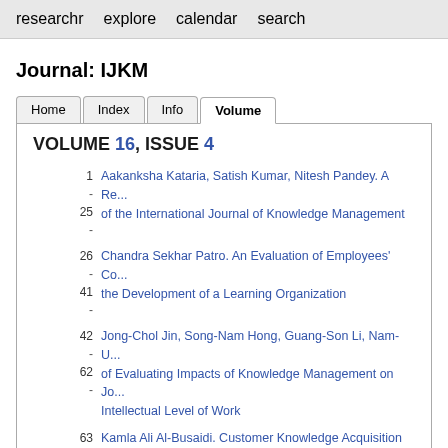researchr   explore   calendar   search
Journal: IJKM
VOLUME 16, ISSUE 4
1 - 25 - Aakanksha Kataria, Satish Kumar, Nitesh Pandey. A Re... of the International Journal of Knowledge Management
26 - 41 - Chandra Sekhar Patro. An Evaluation of Employees' Co... the Development of a Learning Organization
42 - 62 - Jong-Chol Jin, Song-Nam Hong, Guang-Son Li, Nam-U... of Evaluating Impacts of Knowledge Management on Jo... Intellectual Level of Work
63 - 80 - Kamla Ali Al-Busaidi. Customer Knowledge Acquisition i... Organizations
George Maramba, Hanlie Smuts. Guidelines for Selecti...